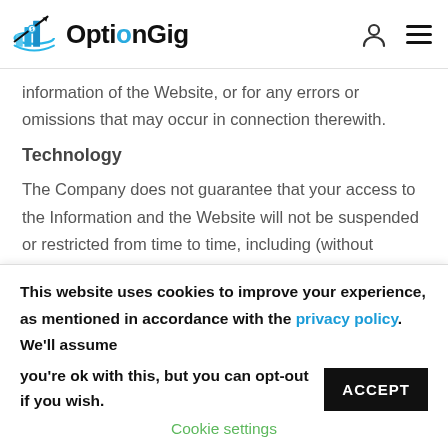OptionGig
information of the Website, or for any errors or omissions that may occur in connection therewith.
Technology
The Company does not guarantee that your access to the Information and the Website will not be suspended or restricted from time to time, including (without limitation) to allow for repairs, maintenance or updates, as a result of third-party denial-of-service
This website uses cookies to improve your experience, as mentioned in accordance with the privacy policy. We'll assume you're ok with this, but you can opt-out if you wish.
Cookie settings